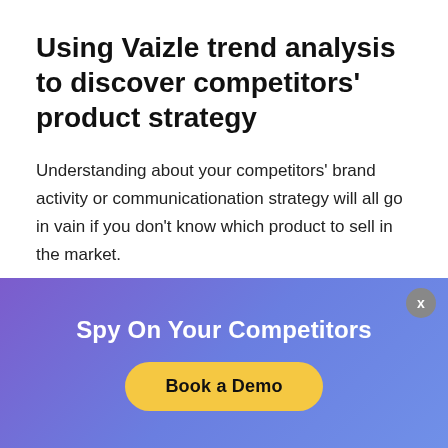Using Vaizle trend analysis to discover competitors' product strategy
Understanding about your competitors' brand activity or communicationation strategy will all go in vain if you don't know which product to sell in the market.
Now choosing a product to promote in your social
Spy On Your Competitors
Book a Demo